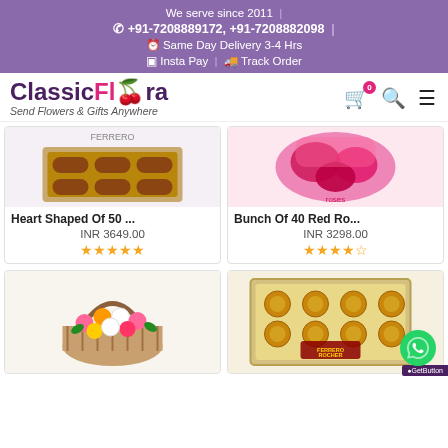We serve since 2011 | ☎ +91-7208889172, +91-7208882098 | ⏱ Same Day Delivery 3-4 Hrs | 💳 Insta Pay | 🚚 Track Order
[Figure (logo): ClassicFlora logo with pink flower, tagline: Send Flowers & Gifts Anywhere]
[Figure (screenshot): Product card: Heart Shaped Of 50 ... chocolates image, INR 3649.00, 5 stars]
Heart Shaped Of 50 ...
INR 3649.00
[Figure (screenshot): Product card: Bunch Of 40 Red Ro... flowers image, INR 3298.00, 4.5 stars]
Bunch Of 40 Red Ro...
INR 3298.00
[Figure (photo): Flower basket with mixed colorful roses]
[Figure (photo): Ferrero Rocher chocolate box]